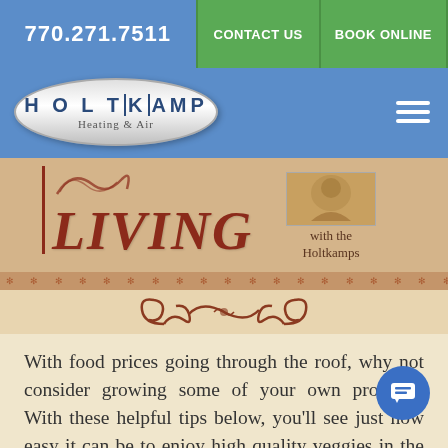770.271.7511 | CONTACT US | BOOK ONLINE
[Figure (logo): Holtkamp Heating & Air oval logo with company name and tagline]
LIVING with the Holtkamps
[Figure (illustration): Decorative border with asterisk pattern and ornamental scroll flourish]
With food prices going through the roof, why not consider growing some of your own produce? With these helpful tips below, you'll see just how easy it can be to enjoy high quality veggies in the late spring summer months. The nice thing about living here metro Atlanta is enjoying a vegetable garden [...]